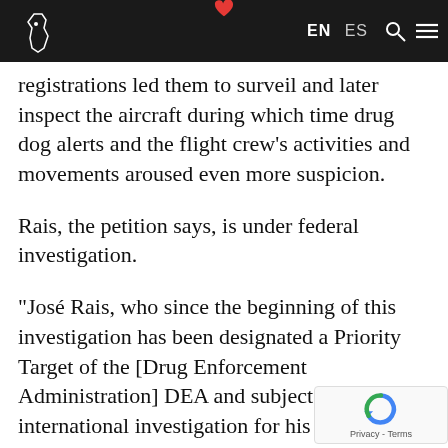EN  ES
registrations led them to surveil and later inspect the aircraft during which time drug dog alerts and the flight crew's activities and movements aroused even more suspicion.
Rais, the petition says, is under federal investigation.
"José Rais, who since the beginning of this investigation has been designated a Priority Target of the [Drug Enforcement Administration] DEA and subject of international investigation for his ties to to the organized crime groups, shell companies, cartels, and corrupt politicians," the petition submitted by Sheriff William D. Snyder says.